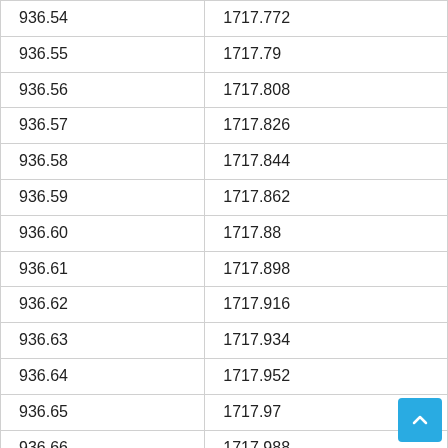| 936.54 | 1717.772 |
| 936.55 | 1717.79 |
| 936.56 | 1717.808 |
| 936.57 | 1717.826 |
| 936.58 | 1717.844 |
| 936.59 | 1717.862 |
| 936.60 | 1717.88 |
| 936.61 | 1717.898 |
| 936.62 | 1717.916 |
| 936.63 | 1717.934 |
| 936.64 | 1717.952 |
| 936.65 | 1717.97 |
| 936.66 | 1717.988 |
| 936.67 | 1718.006 |
| 936.68 | 1718.024 |
| 936.69 | 1718.042 |